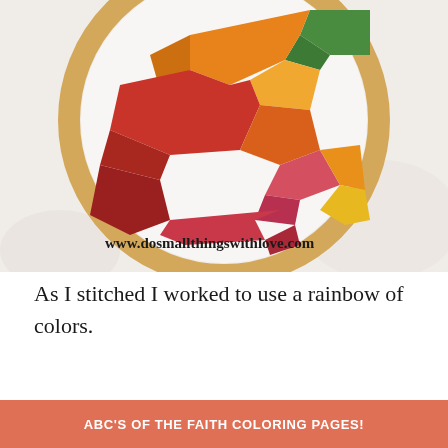[Figure (photo): Embroidery hoop with colorful thread stitching in rainbow colors (green, orange, red, yellow, pink) on white fabric, shown on a white cloth background. Website watermark reads www.dosmallthingsswithlove.com]
As I stitched I worked to use a rainbow of colors.
And the above picture is what you pretty
ABC'S OF THE FAITH COLORING PAGES!